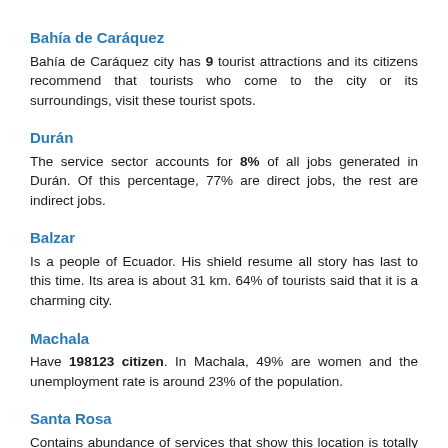Bahía de Caráquez
Bahía de Caráquez city has 9 tourist attractions and its citizens recommend that tourists who come to the city or its surroundings, visit these tourist spots.
Durán
The service sector accounts for 8% of all jobs generated in Durán. Of this percentage, 77% are direct jobs, the rest are indirect jobs.
Balzar
Is a people of Ecuador. His shield resume all story has last to this time. Its area is about 31 km. 64% of tourists said that it is a charming city.
Machala
Have 198123 citizen. In Machala, 49% are women and the unemployment rate is around 23% of the population.
Santa Rosa
Contains abundance of services that show this location is totally habitable. At about 11km exists a mall with all kinds of